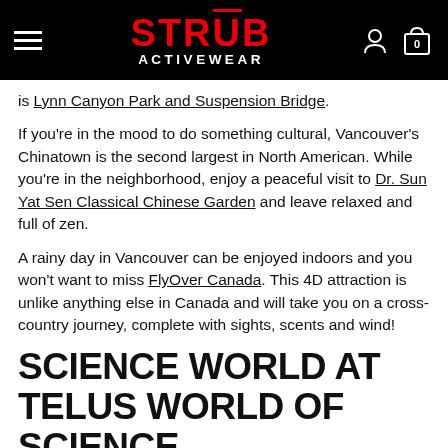STRÜB ACTIVEWEAR
is Lynn Canyon Park and Suspension Bridge.
If you're in the mood to do something cultural, Vancouver's Chinatown is the second largest in North American. While you're in the neighborhood, enjoy a peaceful visit to Dr. Sun Yat Sen Classical Chinese Garden and leave relaxed and full of zen.
A rainy day in Vancouver can be enjoyed indoors and you won't want to miss FlyOver Canada. This 4D attraction is unlike anything else in Canada and will take you on a cross-country journey, complete with sights, scents and wind!
SCIENCE WORLD AT TELUS WORLD OF SCIENCE